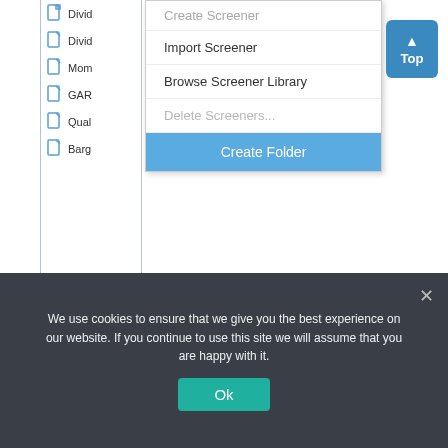[Figure (screenshot): Screenshot of a financial screener application showing a navigation panel on the left with document icons and truncated names (Divid, Divid, Mom, GAR, Qual, Barg), a dropdown context menu on the right with options: Create Screener (top, partially cut), Import Screener, Browse Screener Library, Delete Screeners... (greyed out), Create Folder (highlighted in blue). A blue 'Top' button with upward arrow is visible in the top-right corner.]
Create folders to organize your screeners watchlist or portfolios.
Once your newly created folder appears in the navigation tree, simply drag and drop items into it.
We use cookies to ensure that we give you the best experience on our website. If you continue to use this site we will assume that you are happy with it.